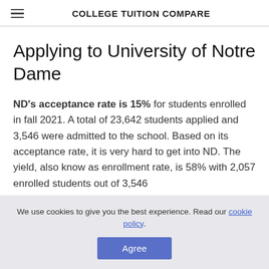COLLEGE TUITION COMPARE
Applying to University of Notre Dame
ND's acceptance rate is 15% for students enrolled in fall 2021. A total of 23,642 students applied and 3,546 were admitted to the school. Based on its acceptance rate, it is very hard to get into ND. The yield, also know as enrollment rate, is 58% with 2,057 enrolled students out of 3,546
We use cookies to give you the best experience. Read our cookie policy.